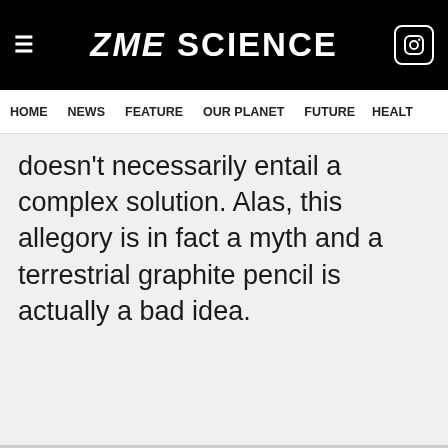ZME SCIENCE
HOME NEWS FEATURE OUR PLANET FUTURE HEALT
doesn't necessarily entail a complex solution. Alas, this allegory is in fact a myth and a terrestrial graphite pencil is actually a bad idea.